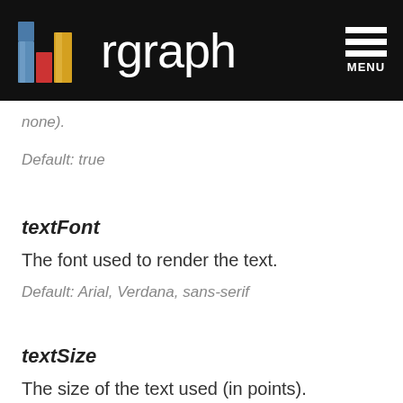rgraph MENU
none).
Default: true
textFont
The font used to render the text.
Default: Arial, Verdana, sans-serif
textSize
The size of the text used (in points).